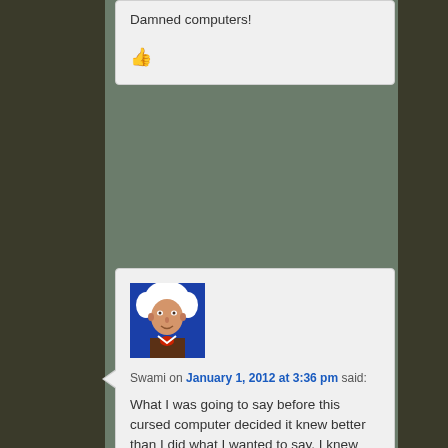Damned computers!
👍
Swami on January 1, 2012 at 3:36 pm said:
What I was going to say before this cursed computer decided it knew better than I did what I wanted to say. I knew Satan could appear as an angel of light but, I didn't expect him to appear as renegade ASCII code.
Several weeks ago I goggled Jim Crow